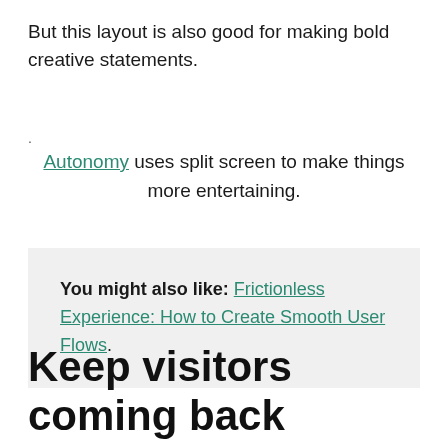But this layout is also good for making bold creative statements.
. Autonomy uses split screen to make things more entertaining.
You might also like: Frictionless Experience: How to Create Smooth User Flows.
Keep visitors coming back